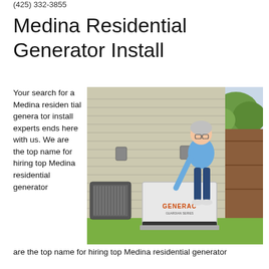(425) 332-3855
Medina Residential Generator Install
Your search for a Medina residential generator install experts ends here with us. We are the top name for hiring top Medina residential generator
[Figure (photo): A woman standing next to a Generac residential standby generator installed outside a house, next to an AC unit, with a wooden fence and trees in the background.]